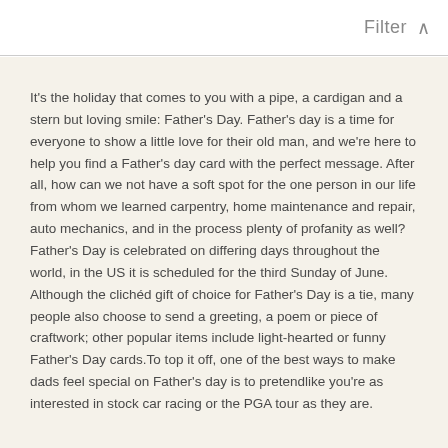Filter ^
It's the holiday that comes to you with a pipe, a cardigan and a stern but loving smile: Father's Day. Father's day is a time for everyone to show a little love for their old man, and we're here to help you find a Father's day card with the perfect message. After all, how can we not have a soft spot for the one person in our life from whom we learned carpentry, home maintenance and repair, auto mechanics, and in the process plenty of profanity as well? Father's Day is celebrated on differing days throughout the world, in the US it is scheduled for the third Sunday of June. Although the clichéd gift of choice for Father's Day is a tie, many people also choose to send a greeting, a poem or piece of craftwork; other popular items include light-hearted or funny Father's Day cards.To top it off, one of the best ways to make dads feel special on Father's day is to pretendlike you're as interested in stock car racing or the PGA tour as they are.